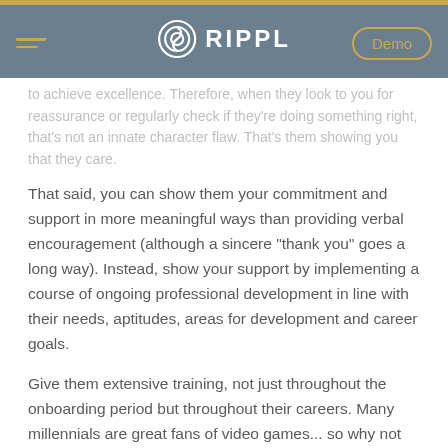RIPPL — navigation header with Demo button
to achieve excellence. Therefore, when they look to you for reassurance or regularly check if they're doing something right, that's not an innate character flaw. That's them showing you that they care.
That said, you can show them your commitment and support in more meaningful ways than providing verbal encouragement (although a sincere "thank you" goes a long way). Instead, show your support by implementing a course of ongoing professional development in line with their needs, aptitudes, areas for development and career goals.
Give them extensive training, not just throughout the onboarding period but throughout their careers. Many millennials are great fans of video games... so why not gamify the training and development process, incentivising team members